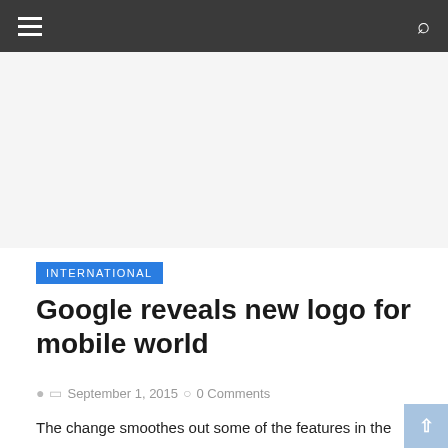Navigation bar with hamburger menu and search icon
[Figure (other): Advertisement/blank area placeholder]
INTERNATIONAL
Google reveals new logo for mobile world
September 1, 2015   0 Comments
The change smoothes out some of the features in the letters that make up the well-known colourful logo spelling out its name.